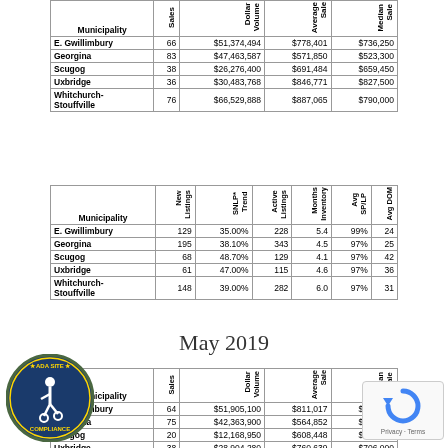| Municipality | Sales | Dollar Volume | Average Sale | Median Sale |
| --- | --- | --- | --- | --- |
| E. Gwillimbury | 66 | $51,374,494 | $778,401 | $736,250 |
| Georgina | 83 | $47,463,587 | $571,850 | $523,300 |
| Scugog | 38 | $26,276,400 | $691,484 | $659,450 |
| Uxbridge | 36 | $30,483,768 | $846,771 | $827,500 |
| Whitchurch-Stouffville | 76 | $66,529,888 | $887,065 | $790,000 |
| Municipality | New Listings | SNLP* Trend | Active Listings | Months Inventory | Avg SP/LP | Avg DOM |
| --- | --- | --- | --- | --- | --- | --- |
| E. Gwillimbury | 129 | 35.00% | 228 | 5.4 | 99% | 24 |
| Georgina | 195 | 38.10% | 343 | 4.5 | 97% | 25 |
| Scugog | 68 | 48.70% | 129 | 4.1 | 97% | 42 |
| Uxbridge | 61 | 47.00% | 115 | 4.6 | 97% | 36 |
| Whitchurch-Stouffville | 148 | 39.00% | 282 | 6.0 | 97% | 31 |
May 2019
| Municipality | Sales | Dollar Volume | Average Sale | Median Sale |
| --- | --- | --- | --- | --- |
| E. Gwillimbury | 64 | $51,905,100 | $811,017 | $769,000 |
| Georgina | 75 | $42,363,900 | $564,852 | $550,000 |
| Scugog | 20 | $12,168,950 | $608,448 | $617,450 |
| Uxbridge | 38 | $28,904,280 | $760,639 | $706,000 |
| Whitchurch-Stouffville | 79 | $72,584,729 | $918,794 | $830,000 |